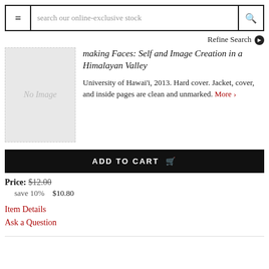search our online-exclusive stock
Refine Search ❯
Making Faces: Self and Image Creation in a Himalayan Valley
University of Hawai'i, 2013. Hard cover. Jacket, cover, and inside pages are clean and unmarked. More ›
[Figure (other): No Image placeholder for book cover]
ADD TO CART 🛒
Price: $12.00
save 10%  $10.80
Item Details
Ask a Question